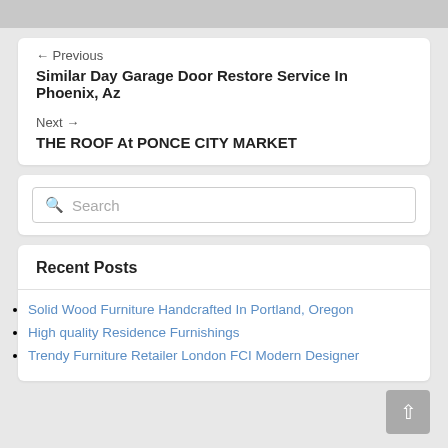← Previous
Similar Day Garage Door Restore Service In Phoenix, Az
Next →
THE ROOF At PONCE CITY MARKET
Search
Recent Posts
Solid Wood Furniture Handcrafted In Portland, Oregon
High quality Residence Furnishings
Trendy Furniture Retailer London FCI Modern Designer